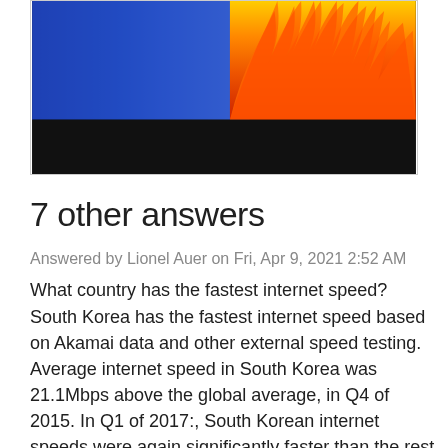[Figure (photo): Partially visible image showing blue and orange/fire colors with a black bar at bottom, appears to be a heat map or fire vs ice visual.]
7 other answers
Answered by Lionel Auer on Fri, Apr 9, 2021 2:52 AM
What country has the fastest internet speed? South Korea has the fastest internet speed based on Akamai data and other external speed testing. Average internet speed in South Korea was 21.1Mbps above the global average, in Q4 of 2015. In Q1 of 2017:, South Korean internet speeds were again significantly faster than the rest of the world. This is despite a small YoY speed decrease of